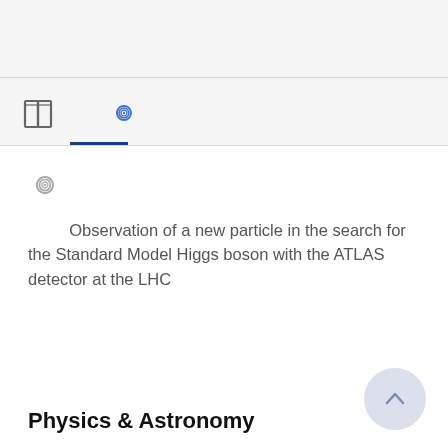[Figure (screenshot): Top navigation bar area with light gray background]
[Figure (screenshot): Tab bar with book icon and spiral/citation icon, blue underline under spiral icon]
[Figure (illustration): Small gray spiral/citation icon]
Observation of a new particle in the search for the Standard Model Higgs boson with the ATLAS detector at the LHC
Physics & Astronomy